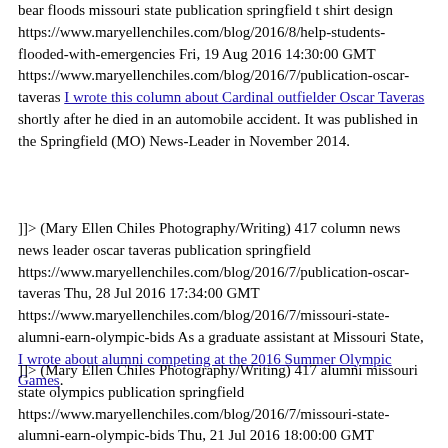bear floods missouri state publication springfield t shirt design https://www.maryellenchiles.com/blog/2016/8/help-students-flooded-with-emergencies Fri, 19 Aug 2016 14:30:00 GMT https://www.maryellenchiles.com/blog/2016/7/publication-oscar-taveras I wrote this column about Cardinal outfielder Oscar Taveras shortly after he died in an automobile accident. It was published in the Springfield (MO) News-Leader in November 2014.
]]> (Mary Ellen Chiles Photography/Writing) 417 column news news leader oscar taveras publication springfield https://www.maryellenchiles.com/blog/2016/7/publication-oscar-taveras Thu, 28 Jul 2016 17:34:00 GMT https://www.maryellenchiles.com/blog/2016/7/missouri-state-alumni-earn-olympic-bids As a graduate assistant at Missouri State, I wrote about alumni competing at the 2016 Summer Olympic Games.
]]> (Mary Ellen Chiles Photography/Writing) 417 alumni missouri state olympics publication springfield https://www.maryellenchiles.com/blog/2016/7/missouri-state-alumni-earn-olympic-bids Thu, 21 Jul 2016 18:00:00 GMT https://www.maryellenchiles.com/blog/2016/6/publication-jerry-lumpe-column One of my favorite people was Jerry Lumpe, a former